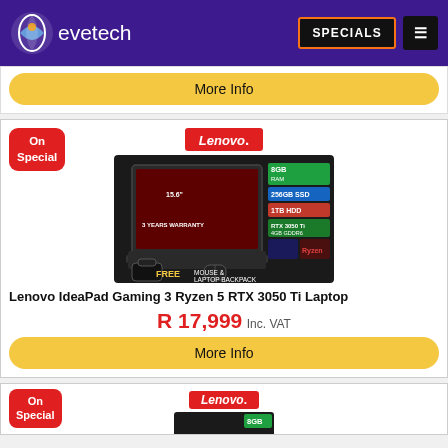evetech | SPECIALS
More Info
[Figure (photo): Lenovo IdeaPad Gaming 3 laptop product image with specs overlay: 8GB RAM, 256GB SSD, 1TB HDD, RTX 3050 Ti 4GB GDDR6, Ryzen. FREE MOUSE & LAPTOP BACKPACK. 3 YEARS WARRANTY. On Special badge.]
Lenovo IdeaPad Gaming 3 Ryzen 5 RTX 3050 Ti Laptop
R 17,999 Inc. VAT
More Info
[Figure (photo): Second Lenovo product card beginning, showing On Special badge, Lenovo logo, and partial laptop image with 8GB spec tag.]